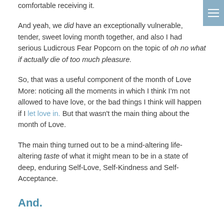comfortable receiving it.
And yeah, we did have an exceptionally vulnerable, tender, sweet loving month together, and also I had serious Ludicrous Fear Popcorn on the topic of oh no what if actually die of too much pleasure.
So, that was a useful component of the month of Love More: noticing all the moments in which I think I'm not allowed to have love, or the bad things I think will happen if I let love in. But that wasn't the main thing about the month of Love.
The main thing turned out to be a mind-altering life-altering taste of what it might mean to be in a state of deep, enduring Self-Love, Self-Kindness and Self-Acceptance.
And.